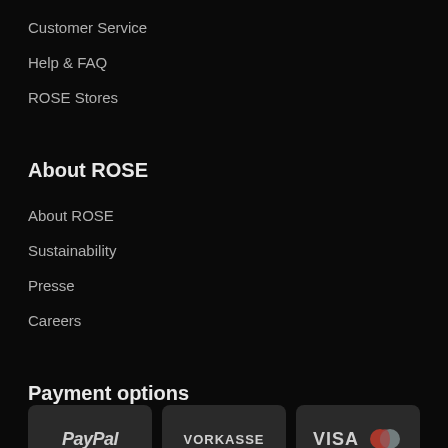Customer Service
Help & FAQ
ROSE Stores
About ROSE
About ROSE
Sustainability
Presse
Careers
Payment options
[Figure (logo): PayPal payment option button]
[Figure (logo): Vorkasse payment option button]
[Figure (logo): Visa/Mastercard payment option button]